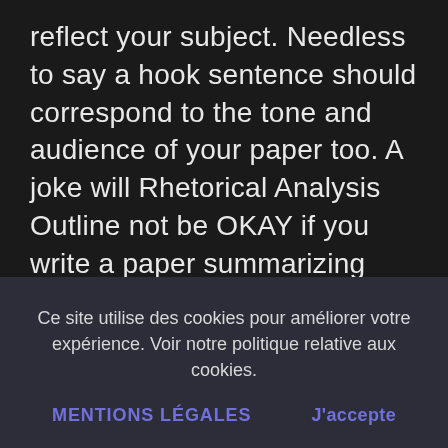reflect your subject. Needless to say a hook sentence should correspond to the tone and audience of your paper too. A joke will Rhetorical Analysis Outline not be OKAY if you write a paper summarizing and analyzing the article on serious well being issue like full disability. Any such hook is an ideal begin for the paper which covers humorous moments from the life of
Ce site utilise des cookies pour améliorer votre expérience. Voir notre politique relative aux cookies.
MENTIONS LÉGALES   J'accepte